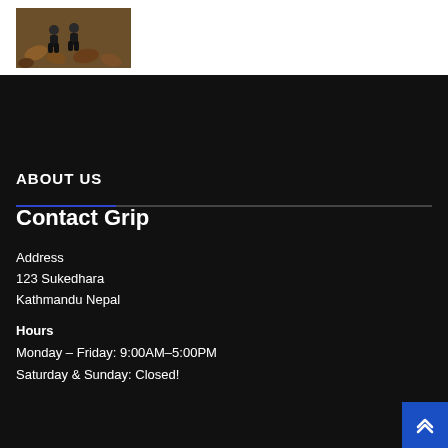[Figure (photo): Small thumbnail photo showing two people/children crouching on leaves/ground]
ABOUT US
Contact Grip
Address
123 Sukedhara
Kathmandu Nepal
Hours
Monday – Friday: 9:00AM–5:00PM
Saturday & Sunday: Closed!
RECENT POSTS